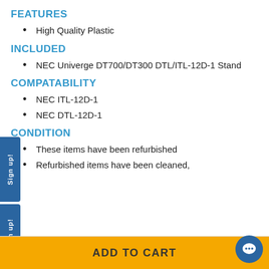FEATURES
High Quality Plastic
INCLUDED
NEC Univerge DT700/DT300 DTL/ITL-12D-1 Stand
COMPATABILITY
NEC ITL-12D-1
NEC DTL-12D-1
CONDITION
These items have been refurbished
Refurbished items have been cleaned,